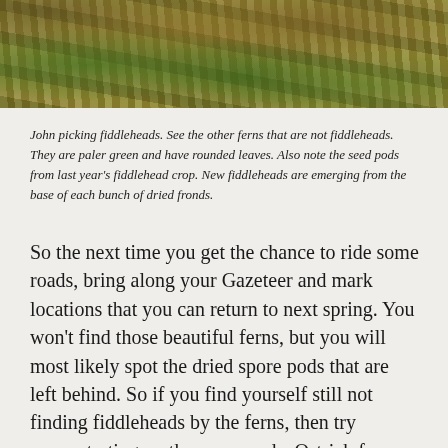[Figure (photo): Overhead photo showing fiddleheads and ferns among dried brown fronds/straw on the ground, with bright green emerging fiddlehead ferns visible amid tan dried vegetation.]
John picking fiddleheads. See the other ferns that are not fiddleheads. They are paler green and have rounded leaves. Also note the seed pods from last year's fiddlehead crop. New fiddleheads are emerging from the base of each bunch of dried fronds.
So the next time you get the chance to ride some roads, bring along your Gazeteer and mark locations that you can return to next spring. You won't find those beautiful ferns, but you will most likely spot the dried spore pods that are left behind. So if you find yourself still not finding fiddleheads by the ferns, then try concentrating on the spore pods. Ostrich fern spore pods are very distinct, and you'll know for sure you've found your spot. Not only are they neat to discover, but they make great decorations in a simple vase.